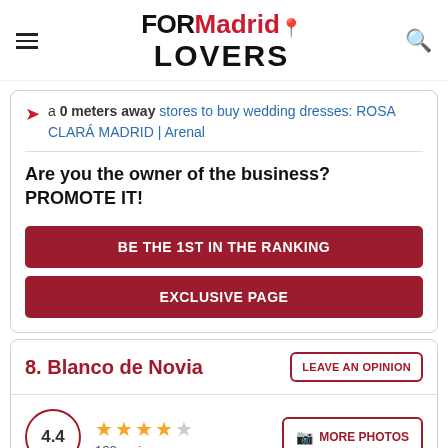FORMadrid LOVERS
a 0 meters away stores to buy wedding dresses: ROSA CLARÁ MADRID | Arenal
Are you the owner of the business? PROMOTE IT!
BE THE 1ST IN THE RANKING
EXCLUSIVE PAGE
8. Blanco de Novia
4.4  108 reviews  MORE PHOTOS